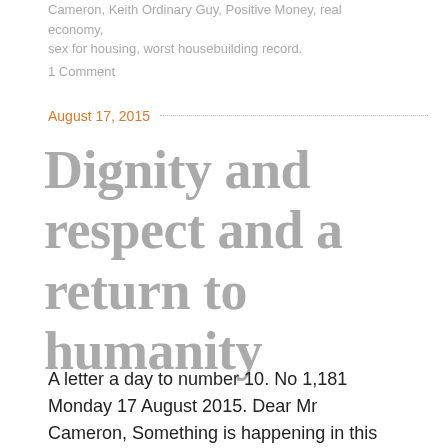Cameron, Keith Ordinary Guy, Positive Money, real economy, sex for housing, worst housebuilding record.
1 Comment
August 17, 2015
Dignity and respect and a return to humanity
A letter a day to number 10. No 1,181 Monday 17 August 2015. Dear Mr Cameron, Something is happening in this country, something very important and it is something that all right-minded